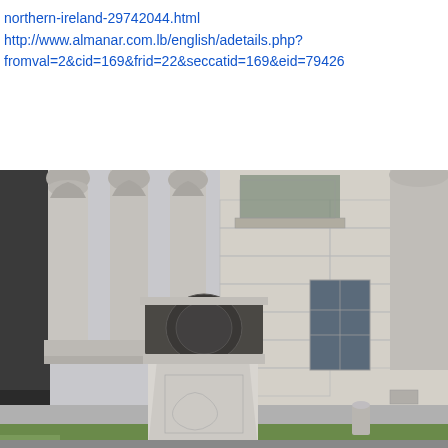northern-ireland-29742044.html
http://www.almanar.com.lb/english/adetails.php?fromval=2&cid=169&frid=22&seccatid=169&eid=79426
[Figure (photo): Photograph of a stone monument or pedestal with decorative carved relief panels, set in front of a grand neoclassical building with large Corinthian columns and tall windows. Green grass is visible at the base. The scene appears to be in Northern Ireland, likely Belfast City Hall or similar government building.]